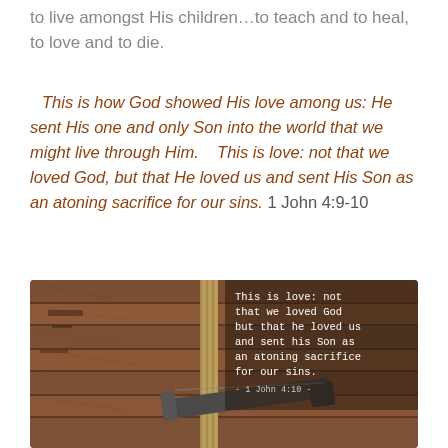to live amongst His children…to teach and to heal, to love and to die.
This is how God showed His love among us: He sent His one and only Son into the world that we might live through Him.   This is love: not that we loved God, but that He loved us and sent His Son as an atoning sacrifice for our sins.  1 John 4:9-10
[Figure (photo): Photograph of a large iron nail driven into weathered wooden planks with rope, overlaid with text of 1 John 4:10 in white typewriter font on a dark background]
This is love: not that we loved God but that he loved us and sent his Son as an atoning sacrifice for our sins. - 1 John 4:10 -